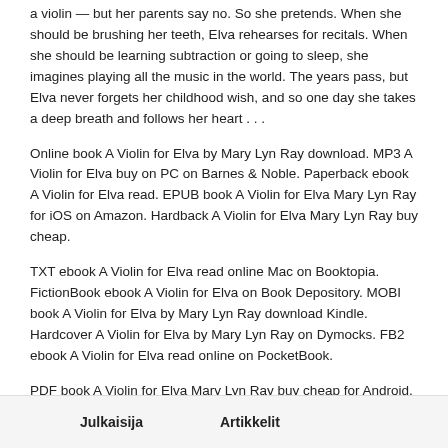a violin — but her parents say no. So she pretends. When she should be brushing her teeth, Elva rehearses for recitals. When she should be learning subtraction or going to sleep, she imagines playing all the music in the world. The years pass, but Elva never forgets her childhood wish, and so one day she takes a deep breath and follows her heart . . .
Online book A Violin for Elva by Mary Lyn Ray download. MP3 A Violin for Elva buy on PC on Barnes & Noble. Paperback ebook A Violin for Elva read. EPUB book A Violin for Elva Mary Lyn Ray for iOS on Amazon. Hardback A Violin for Elva Mary Lyn Ray buy cheap.
TXT ebook A Violin for Elva read online Mac on Booktopia. FictionBook ebook A Violin for Elva on Book Depository. MOBI book A Violin for Elva by Mary Lyn Ray download Kindle. Hardcover A Violin for Elva by Mary Lyn Ray on Dymocks. FB2 ebook A Violin for Elva read online on PocketBook.
PDF book A Violin for Elva Mary Lyn Ray buy cheap for Android. FictionBook A Violin for Elva download on Kobo. MOBI A Violin for Elva Mary Lyn Ray for iPad on IndieBound. Paperback ebook A Violin for Elva download. Hardcover book A Violin for Elva by Mary Lyn Ray read on reader on Audible.
Julkaisija    Artikkelit